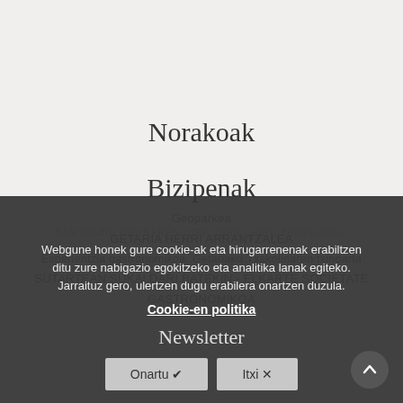DESARROLLO ECONÓMICO DE SAN SEBASTIÁN
DONOSTIAKO GARAPEN EKONOMIKOA
SAN SEBASTIAN ECONOMIC DEVELOPMENT
Norakoak
Bizipenak
Geoparkea
GETARIA HERRI ARRANTZALEA
Esperientzia gastronomikoa. Getariako Txakolinaren txinparta
SUTARTEAN SUKALDARI BATEKIN - ELKARTE SOCIETATE
GASTRONOMIKOA
SAN INAZIO DEUNAREN UDAL BIRA - HIRU TENPLUEN...
IBIL BIDEA
GASTRONOMY & CULTURE IN THE CITY
Webgune honek gure cookie-ak eta hirugarrenenak erabiltzen ditu zure nabigazio egokitzeko eta analitika lanak egiteko. Jarraituz gero, ulertzen dugu erabilera onartzen duzula.
Cookie-en politika
Newsletter
Onartu ✔
Itxi ✕